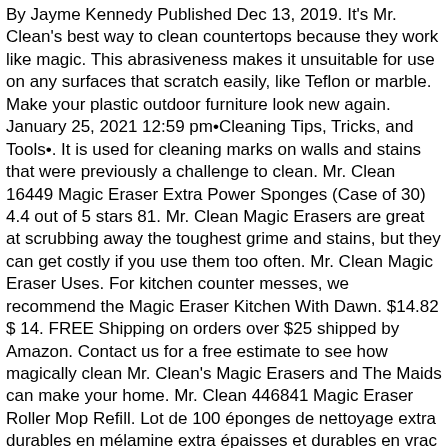By Jayme Kennedy Published Dec 13, 2019. It's Mr. Clean's best way to clean countertops because they work like magic. This abrasiveness makes it unsuitable for use on any surfaces that scratch easily, like Teflon or marble. Make your plastic outdoor furniture look new again. January 25, 2021 12:59 pm•Cleaning Tips, Tricks, and Tools•. It is used for cleaning marks on walls and stains that were previously a challenge to clean. Mr. Clean 16449 Magic Eraser Extra Power Sponges (Case of 30) 4.4 out of 5 stars 81. Mr. Clean Magic Erasers are great at scrubbing away the toughest grime and stains, but they can get costly if you use them too often. Mr. Clean Magic Eraser Uses. For kitchen counter messes, we recommend the Magic Eraser Kitchen With Dawn. $14.82 $ 14. FREE Shipping on orders over $25 shipped by Amazon. Contact us for a free estimate to see how magically clean Mr. Clean's Magic Erasers and The Maids can make your home. Mr. Clean 446841 Magic Eraser Roller Mop Refill. Lot de 100 éponges de nettoyage extra durables en mélamine extra épaisses et durables en vrac – Éponge multi-usages – Salle de bain, cuisine, sol, baignoire, toilettes, plinthes, nettoyeur mural. Cleaning non-stick cookware with a Magic Eraser will damage the non-stick coating, making the cookware useless. (Blanc, 24 Pièces), MOTHERS 155900 Brosse pour tapis et siège de voiture. Audew Gomme Gel Nettoyage Super